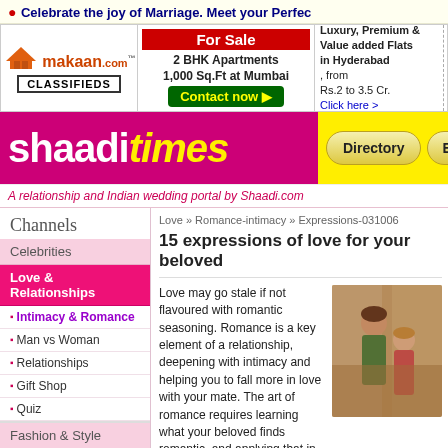● Celebrate the joy of Marriage. Meet your Perfect
[Figure (screenshot): makaan.com CLASSIFIEDS advertisement banner for real estate — For Sale, 2 BHK Apartments, 1,000 Sq.Ft at Mumbai, Contact now, Luxury Premium & Value added Flats in Hyderabad from Rs.2 to 3.5 Cr., Click here]
[Figure (logo): Shaadi Times logo — pink background with white 'shaadi' and yellow italic 'times' text, with Directory and Expert Zone navigation buttons]
A relationship and Indian wedding portal by Shaadi.com
Channels
Celebrities
Love & Relationships
Intimacy & Romance
Man vs Woman
Relationships
Gift Shop
Quiz
Fashion & Style
Beauty & Health
Love » Romance-intimacy » Expressions-031006
15 expressions of love for your beloved
Love may go stale if not flavoured with romantic seasoning. Romance is a key element of a relationship, deepening with intimacy and helping you to fall more in love with your mate. The art of romance requires learning what your beloved finds romantic, and applying that in your
[Figure (photo): Couple photo showing romantic scene]